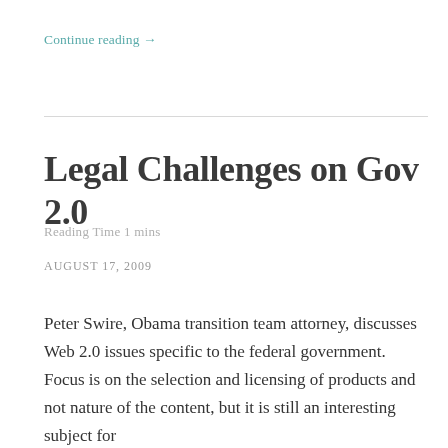Continue reading →
Legal Challenges on Gov 2.0
Reading Time 1 mins
AUGUST 17, 2009
Peter Swire, Obama transition team attorney, discusses Web 2.0 issues specific to the federal government. Focus is on the selection and licensing of products and not nature of the content, but it is still an interesting subject for